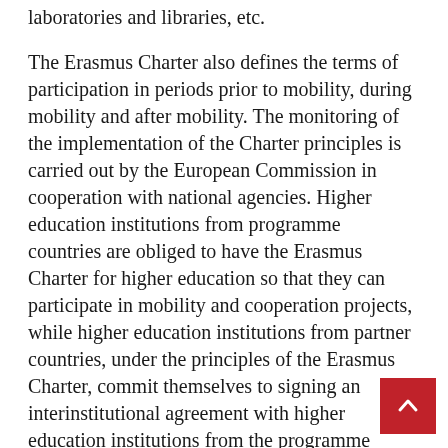laboratories and libraries, etc.
The Erasmus Charter also defines the terms of participation in periods prior to mobility, during mobility and after mobility. The monitoring of the implementation of the Charter principles is carried out by the European Commission in cooperation with national agencies. Higher education institutions from programme countries are obliged to have the Erasmus Charter for higher education so that they can participate in mobility and cooperation projects, while higher education institutions from partner countries, under the principles of the Erasmus Charter, commit themselves to signing an interinstitutional agreement with higher education institutions from the programme country.